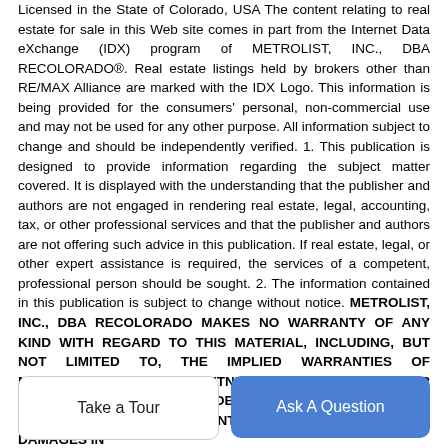Licensed in the State of Colorado, USA The content relating to real estate for sale in this Web site comes in part from the Internet Data eXchange (IDX) program of METROLIST, INC., DBA RECOLORADO®. Real estate listings held by brokers other than RE/MAX Alliance are marked with the IDX Logo. This information is being provided for the consumers' personal, non-commercial use and may not be used for any other purpose. All information subject to change and should be independently verified. 1. This publication is designed to provide information regarding the subject matter covered. It is displayed with the understanding that the publisher and authors are not engaged in rendering real estate, legal, accounting, tax, or other professional services and that the publisher and authors are not offering such advice in this publication. If real estate, legal, or other expert assistance is required, the services of a competent, professional person should be sought. 2. The information contained in this publication is subject to change without notice. METROLIST, INC., DBA RECOLORADO MAKES NO WARRANTY OF ANY KIND WITH REGARD TO THIS MATERIAL, INCLUDING, BUT NOT LIMITED TO, THE IMPLIED WARRANTIES OF MERCHANTABILITY AND FITNESS FOR A PARTICULAR PURPOSE. METROLIST, INC., DBA RECOLORADO SHALL NOT BE LIABLE FOR ERRORS CONTAINED HEREIN OR FOR ANY DAMAGES IN...
Take a Tour
Ask A Question